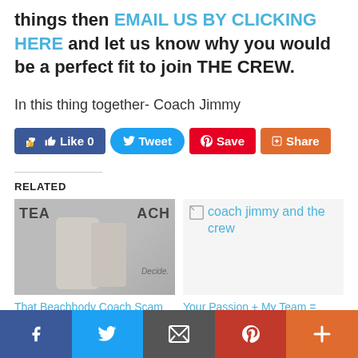things then EMAIL US BY CLICKING HERE and let us know why you would be a perfect fit to join THE CREW.
In this thing together- Coach Jimmy
[Figure (infographic): Social sharing buttons: Like 0 (Facebook blue), Tweet (Twitter blue rounded), Save (Pinterest red), Share (orange square)]
RELATED
[Figure (photo): Photo showing two people standing in front of a backdrop with text TEAM BEACHBODY COACH and Decide]
That Beachbody Coach Scam Thing? No Way!
[Figure (other): Broken image placeholder with alt text: coach jimmy and the crew]
Your Passion + My Team = Lives Changed!!!
[Figure (infographic): Bottom social sharing bar with Facebook, Twitter, Email, Pinterest, and Plus icons]